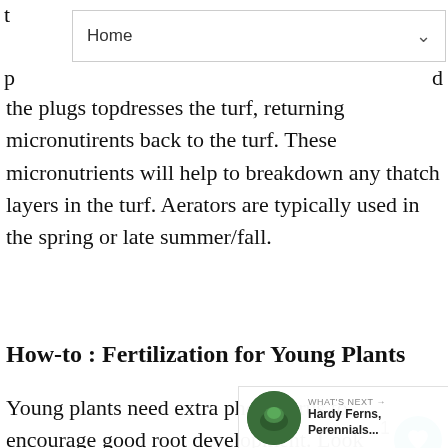Home
the plugs topdresses the turf, returning micronutirents back to the turf. These micronutrients will help to breakdown any thatch layers in the turf. Aerators are typically used in the spring or late summer/fall.
How-to : Fertilization for Young Plants
Young plants need extra phosphorus to encourage good root development. Look a fertilizer that has phosphorus, P, in it(the second number on the bag.) Appl recommended amount for plant per label directions in the soil at time of planting or at